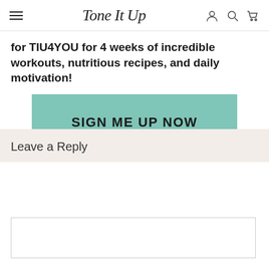Tone It Up
for TIU4YOU for 4 weeks of incredible workouts, nutritious recipes, and daily motivation!
[Figure (other): Teal/mint colored call-to-action button with text SIGN ME UP NOW]
Leave a Reply
[Figure (other): Empty white comment text input box]